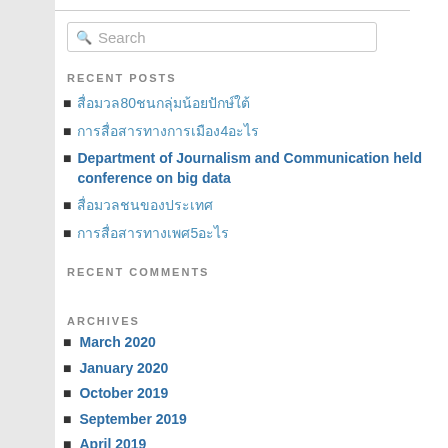[Figure (other): Search input box with placeholder text 'Search' and a search icon]
RECENT POSTS
สื่อมวล80ชนกลุ่มน้อยปักษ์ใต้
การสื่อสารทางการเมือง4อะไร
Department of Journalism and Communication held conference on big data
สื่อมวลชนของประเทศ
การสื่อสารทางเพศ5อะไร
RECENT COMMENTS
ARCHIVES
March 2020
January 2020
October 2019
September 2019
April 2019